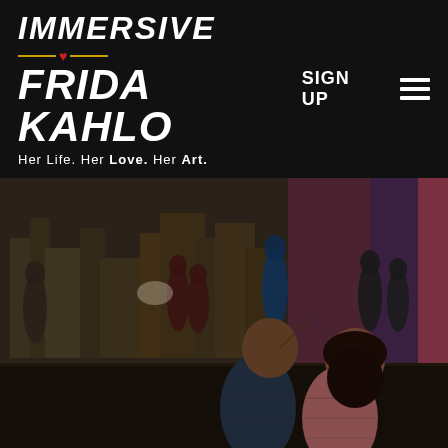[Figure (screenshot): Navigation bar for Immersive Frida Kahlo website with logo on left showing 'IMMERSIVE FRIDA KAHLO — Her Life. Her Love. Her Art.' and nav items 'SIGN UP' and hamburger menu on right, all on black background.]
[Figure (photo): Interior of Immersive Frida Kahlo exhibition showing visitors in a large dark room with large projected images of cityscape and colorful artwork on walls. In foreground, a couple sitting together looking up at the projections.]